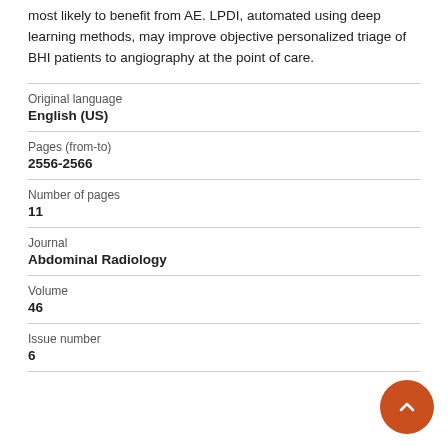most likely to benefit from AE. LPDI, automated using deep learning methods, may improve objective personalized triage of BHI patients to angiography at the point of care.
| Field | Value |
| --- | --- |
| Original language | English (US) |
| Pages (from-to) | 2556-2566 |
| Number of pages | 11 |
| Journal | Abdominal Radiology |
| Volume | 46 |
| Issue number | 6 |